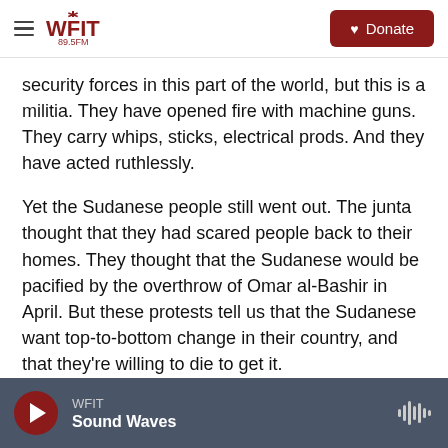WFIT 89.5FM | Donate
security forces in this part of the world, but this is a militia. They have opened fire with machine guns. They carry whips, sticks, electrical prods. And they have acted ruthlessly.
Yet the Sudanese people still went out. The junta thought that they had scared people back to their homes. They thought that the Sudanese would be pacified by the overthrow of Omar al-Bashir in April. But these protests tell us that the Sudanese want top-to-bottom change in their country, and that they're willing to die to get it.
WFIT | Sound Waves